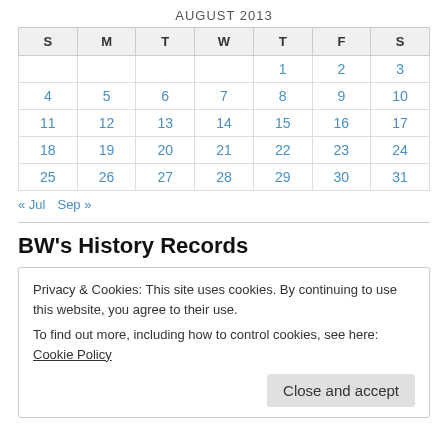| S | M | T | W | T | F | S |
| --- | --- | --- | --- | --- | --- | --- |
|  |  |  |  | 1 | 2 | 3 |
| 4 | 5 | 6 | 7 | 8 | 9 | 10 |
| 11 | 12 | 13 | 14 | 15 | 16 | 17 |
| 18 | 19 | 20 | 21 | 22 | 23 | 24 |
| 25 | 26 | 27 | 28 | 29 | 30 | 31 |
« Jul   Sep »
BW's History Records
Privacy & Cookies: This site uses cookies. By continuing to use this website, you agree to their use.
To find out more, including how to control cookies, see here: Cookie Policy